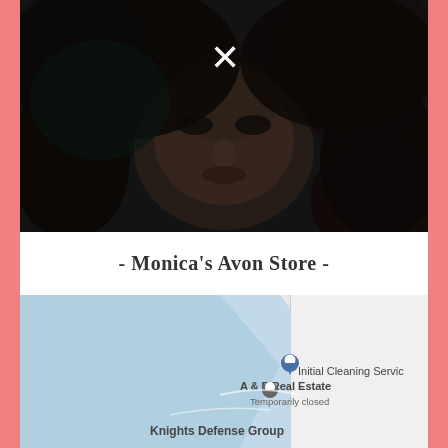[Figure (photo): Dark close-up photo of a person's face with a white X close button in the upper center area]
- Monica's Avon Store -
[Figure (map): Google Maps screenshot showing nearby businesses including A & P Real Estate (Temporarily closed), Initial Cleaning Service, and Knights Defense Group. Map has blue water area on left and light gray road area on right.]